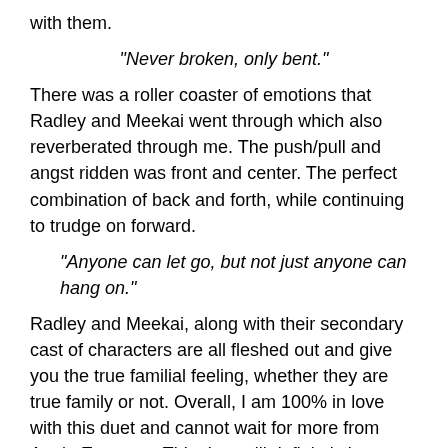with them.
“Never broken, only bent.”
There was a roller coaster of emotions that Radley and Meekai went through which also reverberated through me. The push/pull and angst ridden was front and center. The perfect combination of back and forth, while continuing to trudge on forward.
“Anyone can let go, but not just anyone can hang on.”
Radley and Meekai, along with their secondary cast of characters are all fleshed out and give you the true familial feeling, whether they are true family or not. Overall, I am 100% in love with this duet and cannot wait for more from Annie Emerson. This duet will definitely be on my top of 2021 list.